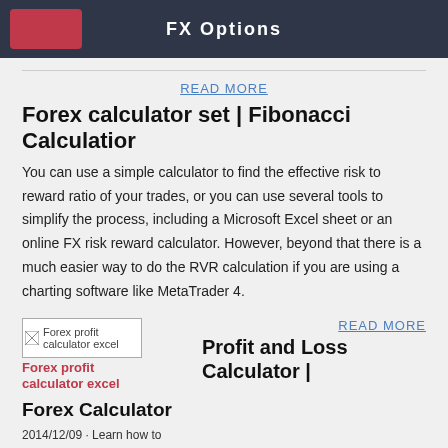FX Options
READ MORE
Forex calculator set | Fibonacci Calculatior
You can use a simple calculator to find the effective risk to reward ratio of your trades, or you can use several tools to simplify the process, including a Microsoft Excel sheet or an online FX risk reward calculator. However, beyond that there is a much easier way to do the RVR calculation if you are using a charting software like MetaTrader 4.
[Figure (illustration): Broken image placeholder for Forex profit calculator excel]
Forex profit calculator excel
READ MORE
Profit and Loss Calculator |
Forex Calculator
2014/12/09 · Learn how to calculate pips in the Forex market in both